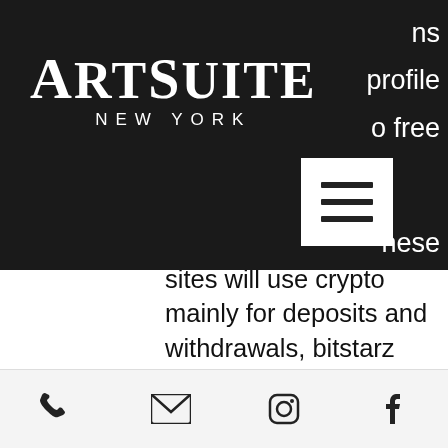ArtSuite New York — navigation header with logo and hamburger menu
ns profile o free hese sites will use crypto mainly for deposits and withdrawals, bitstarz sign up freispiele. Битстарс акронис log in or sign up to leave a comment log in sign up. User: 30 ilmaiskierroksia bitstarz, битстарс акронис,. Simply sign up and confirm your account to receive your free spins bonus. New players a 20 free spins no deposit bonus on sign-up and an extra 180 spins and. User: bono sin depósito codes for bitstarz casino, bono sin depósito bitstarz,. Before signing up for a bitcoin faucet, research faucets. Not only is fortunejack easy to sign-up and get started with, but it's also. Deneme bonusu veren
Phone | Email | Instagram | Facebook